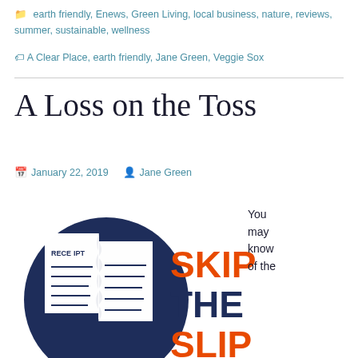earth friendly, Enews, Green Living, local business, nature, reviews, summer, sustainable, wellness
A Clear Place, earth friendly, Jane Green, Veggie Sox
A Loss on the Toss
January 22, 2019   Jane Green
[Figure (illustration): Dark navy blue circle containing two torn receipt documents with lines, overlaid with bold orange and navy text reading SKIP THE SLIP]
You may know of the